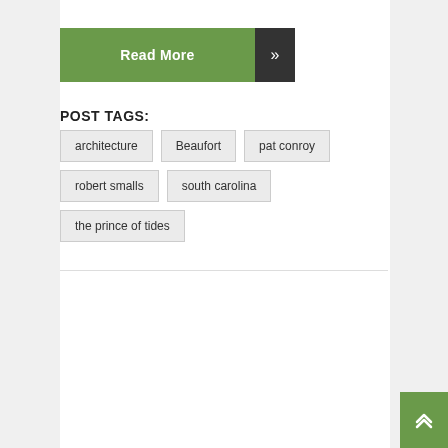Read More »
POST TAGS:
architecture
Beaufort
pat conroy
robert smalls
south carolina
the prince of tides
[Figure (photo): Navigation bar with Arts & Lit, Books, Culture, Travel tabs, above a photo of a man in a white suit sitting on a park bench with a suitcase]
Back to top arrow button